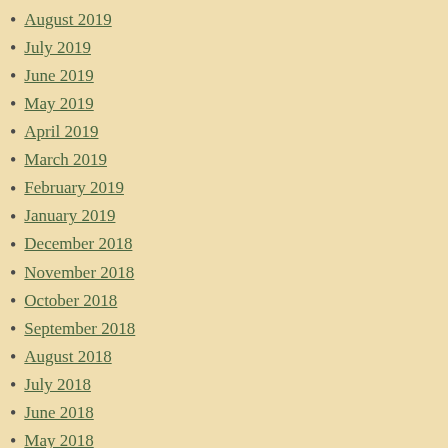August 2019
July 2019
June 2019
May 2019
April 2019
March 2019
February 2019
January 2019
December 2018
November 2018
October 2018
September 2018
August 2018
July 2018
June 2018
May 2018
April 2018
March 2018
February 2018
January 2018
December 2017